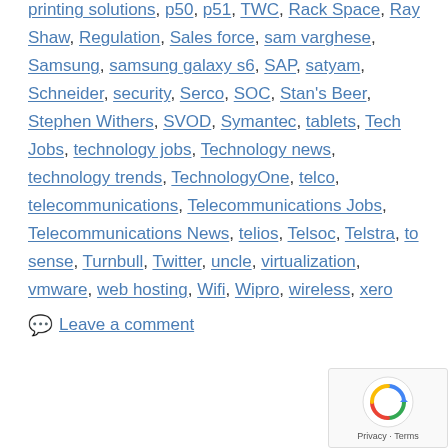printing solutions, p50, p51, TWC, Rack Space, Ray Shaw, Regulation, Sales force, sam varghese, Samsung, samsung galaxy s6, SAP, satyam, Schneider, security, Serco, SOC, Stan's Beer, Stephen Withers, SVOD, Symantec, tablets, Tech Jobs, technology jobs, Technology news, technology trends, TechnologyOne, telco, telecommunications, Telecommunications Jobs, Telecommunications News, telios, Telsoc, Telstra, to sense, Turnbull, Twitter, uncle, virtualization, vmware, web hosting, Wifi, Wipro, wireless, xero
Leave a comment